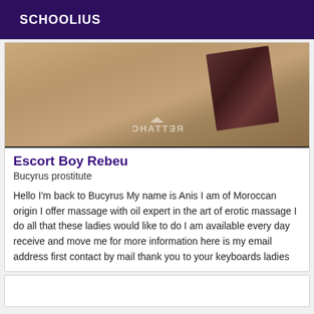SCHOOLIUS
[Figure (photo): Blurred photo showing a tiled floor with what appears to be a dark object, with a mirrored CHATTER watermark at the bottom]
Escort Boy Rebeu
Bucyrus prostitute
Hello I'm back to Bucyrus My name is Anis I am of Moroccan origin I offer massage with oil expert in the art of erotic massage I do all that these ladies would like to do I am available every day receive and move me for more information here is my email address first contact by mail thank you to your keyboards ladies